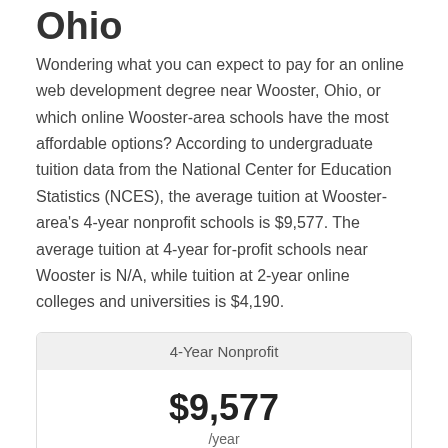Ohio
Wondering what you can expect to pay for an online web development degree near Wooster, Ohio, or which online Wooster-area schools have the most affordable options? According to undergraduate tuition data from the National Center for Education Statistics (NCES), the average tuition at Wooster-area's 4-year nonprofit schools is $9,577. The average tuition at 4-year for-profit schools near Wooster is N/A, while tuition at 2-year online colleges and universities is $4,190.
| 4-Year Nonprofit |
| --- |
| $9,577 | /year |